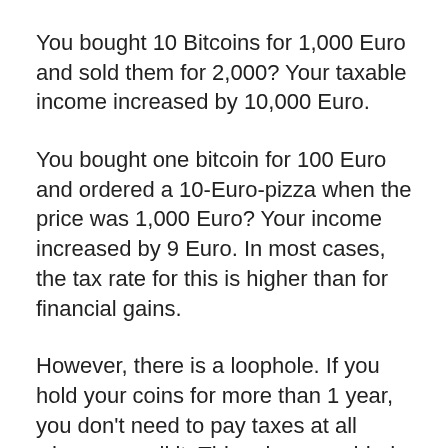You bought 10 Bitcoins for 1,000 Euro and sold them for 2,000? Your taxable income increased by 10,000 Euro.
You bought one bitcoin for 100 Euro and ordered a 10-Euro-pizza when the price was 1,000 Euro? Your income increased by 9 Euro. In most cases, the tax rate for this is higher than for financial gains.
However, there is a loophole. If you hold your coins for more than 1 year, you don't need to pay taxes at all when you sell it. This rule was added to dis-incentivize day trading of other properties and stabilize prices by incentivizing holders. For cryptocurrencies it made Germany, and also the Netherlands, which apply the same rules, to tax havens. Some countries might have similar rules. In doubt, your tax advisor can help you out.